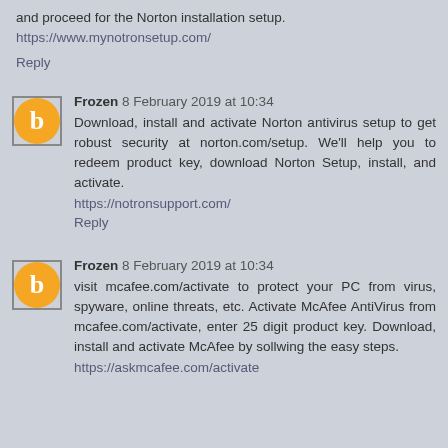and proceed for the Norton installation setup.
https://www.mynotronsetup.com/
Reply
Frozen 8 February 2019 at 10:34
Download, install and activate Norton antivirus setup to get robust security at norton.com/setup. We'll help you to redeem product key, download Norton Setup, install, and activate.
https://notronsupport.com/
Reply
Frozen 8 February 2019 at 10:34
visit mcafee.com/activate to protect your PC from virus, spyware, online threats, etc. Activate McAfee AntiVirus from mcafee.com/activate, enter 25 digit product key. Download, install and activate McAfee by sollwing the easy steps.
https://askmcafee.com/activate